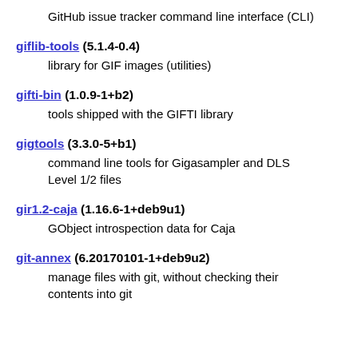GitHub issue tracker command line interface (CLI)
giflib-tools (5.1.4-0.4)
library for GIF images (utilities)
gifti-bin (1.0.9-1+b2)
tools shipped with the GIFTI library
gigtools (3.3.0-5+b1)
command line tools for Gigasampler and DLS Level 1/2 files
gir1.2-caja (1.16.6-1+deb9u1)
GObject introspection data for Caja
git-annex (6.20170101-1+deb9u2)
manage files with git, without checking their contents into git